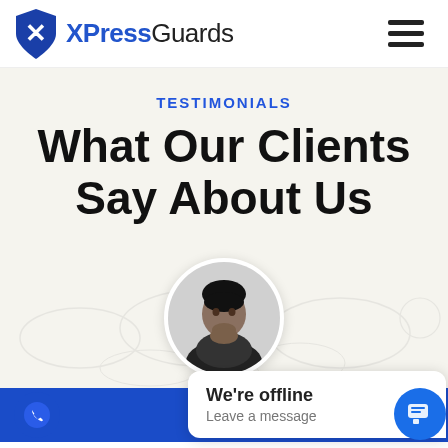[Figure (logo): XPressGuards logo: blue shield with white X figure, followed by text 'XPressGuards' with 'XPress' in blue bold and 'Guards' in dark gray]
TESTIMONIALS
What Our Clients Say About Us
[Figure (photo): Black and white circular portrait photo of a young man resting his chin on his hand]
We're offline
Leave a message